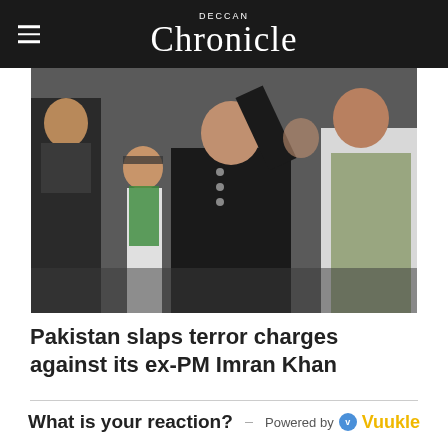Deccan Chronicle
[Figure (photo): Photo of ex-PM Imran Khan raising his hand, surrounded by other political figures. Multiple men in traditional Pakistani dress visible.]
Pakistan slaps terror charges against its ex-PM Imran Khan
What is your reaction? Powered by Vuukle